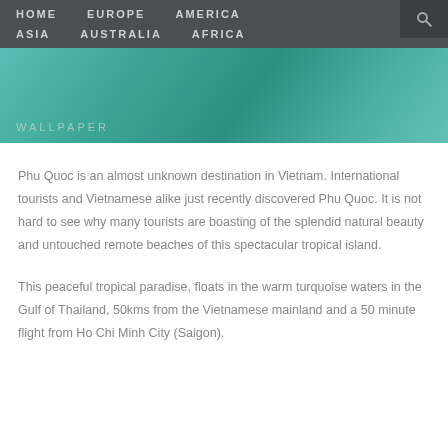HOME   EUROPE   AMERICA   ASIA   AUSTRALIA   AFRICA
[Figure (photo): Turquoise ocean water aerial view with WALLPAPER text overlay]
Phu Quoc is an almost unknown destination in Vietnam. International tourists and Vietnamese alike just recently discovered Phu Quoc. It is not hard to see why many tourists are boasting of the splendid natural beauty and untouched remote beaches of this spectacular tropical island.
This peaceful tropical paradise, floats in the warm turquoise waters in the Gulf of Thailand, 50kms from the Vietnamese mainland and a 50 minute flight from Ho Chi Minh City (Saigon).